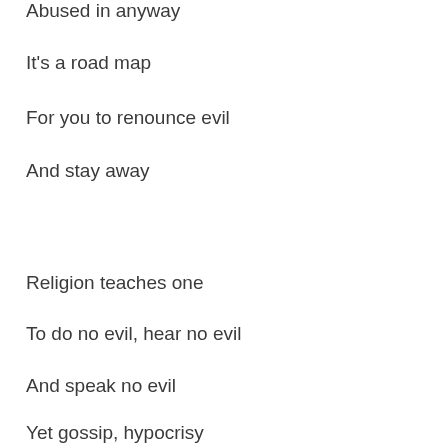Abused in anyway
It's a road map
For you to renounce evil
And stay away
Religion teaches one
To do no evil, hear no evil
And speak no evil
Yet gossip, hypocrisy